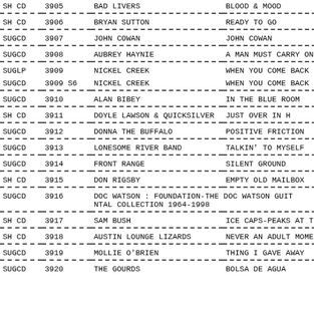| Format | Cat# | Artist | Title |
| --- | --- | --- | --- |
| SH CD | 3905 | BAD LIVERS | BLOOD & MOOD |
| SH CD | 3906 | BRYAN SUTTON | READY TO GO |
| SUGCD | 3907 | JOHN COWAN | JOHN COWAN |
| SUGCD | 3908 | AUBREY HAYNIE | A MAN MUST CARRY ON |
| SUGLP | 3909 | NICKEL CREEK | WHEN YOU COME BACK |
| SUGCD | 3909 S6 | NICKEL CREEK | WHEN YOU COME BACK |
| SUGCD | 3910 | ALAN BIBEY | IN THE BLUE ROOM |
| SH CD | 3911 | DOYLE LAWSON & QUICKSILVER | JUST OVER IN H |
| SUGCD | 3912 | DONNA THE BUFFALO | POSITIVE FRICTION |
| SUGCD | 3913 | LONESOME RIVER BAND | TALKIN' TO MYSELF |
| SUGCD | 3914 | FRONT RANGE | SILENT GROUND |
| SH CD | 3915 | DON RIGSBY | EMPTY OLD MAILBOX |
| SUGCD | 3916 | DOC WATSON : FOUNDATION-THE DOC WATSON GUITA NTAL COLLECTION 1964-1998 |  |
| SH CD | 3917 | SAM BUSH | ICE CAPS-PEAKS AT T |
| SH CD | 3918 | AUSTIN LOUNGE LIZARDS | NEVER AN ADULT MOME |
| SUGCD | 3919 | MOLLIE O'BRIEN | THING I GAVE AWAY |
| SUGCD | 3920 | THE GOURDS | BOLSA DE AGUA |